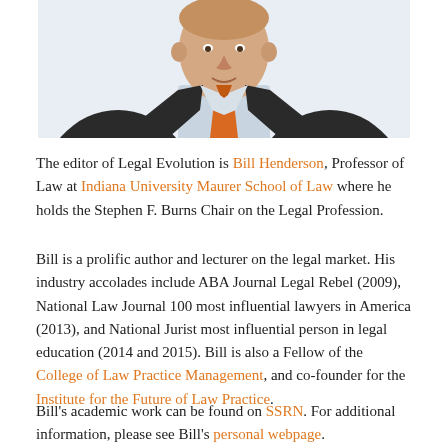[Figure (photo): Professional headshot of Bill Henderson, a man in a dark suit with an orange patterned tie and light blue shirt, photographed from shoulders up against a light background.]
The editor of Legal Evolution is Bill Henderson, Professor of Law at Indiana University Maurer School of Law where he holds the Stephen F. Burns Chair on the Legal Profession.
Bill is a prolific author and lecturer on the legal market. His industry accolades include ABA Journal Legal Rebel (2009), National Law Journal 100 most influential lawyers in America (2013), and National Jurist most influential person in legal education (2014 and 2015). Bill is also a Fellow of the College of Law Practice Management, and co-founder for the Institute for the Future of Law Practice.
Bill's academic work can be found on SSRN. For additional information, please see Bill's personal webpage.